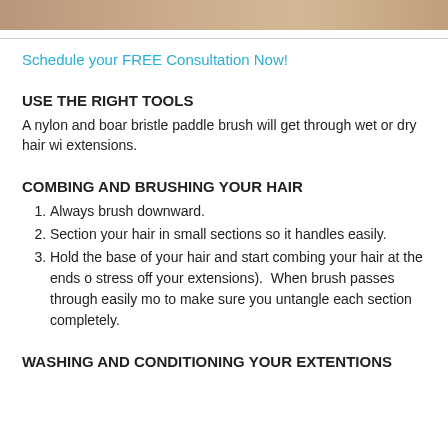[Figure (photo): Photo of a person's hair, cropped at top of page]
Schedule your FREE Consultation Now!
USE THE RIGHT TOOLS
A nylon and boar bristle paddle brush will get through wet or dry hair with extensions.
COMBING AND BRUSHING YOUR HAIR
Always brush downward.
Section your hair in small sections so it handles easily.
Hold the base of your hair and start combing your hair at the ends (to take the stress off your extensions). When brush passes through easily move up to make sure you untangle each section completely.
WASHING AND CONDITIONING YOUR EXTENTIONS